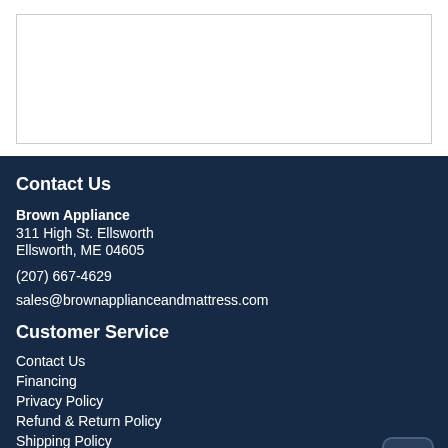[Figure (other): White content area / product image placeholder at top of page]
Contact Us
Brown Appliance
311 High St. Ellsworth
Ellsworth, ME 04605
(207) 667-4629
sales@brownapplianceandmattress.com
Customer Service
Contact Us
Financing
Privacy Policy
Refund & Return Policy
Shipping Policy